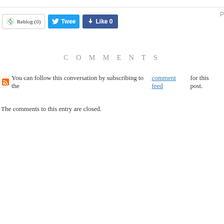[Figure (other): Social sharing buttons: Reblog (0), Tweet, Like 0]
COMMENTS
You can follow this conversation by subscribing to the comment feed for this post.
The comments to this entry are closed.